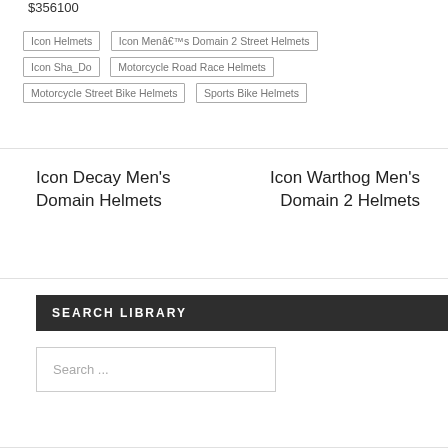$356100
Icon Helmets
Icon Menâ€™s Domain 2 Street Helmets
Icon Sha_Do
Motorcycle Road Race Helmets
Motorcycle Street Bike Helmets
Sports Bike Helmets
Icon Decay Men's Domain Helmets
Icon Warthog Men's Domain 2 Helmets
SEARCH LIBRARY
Search ...